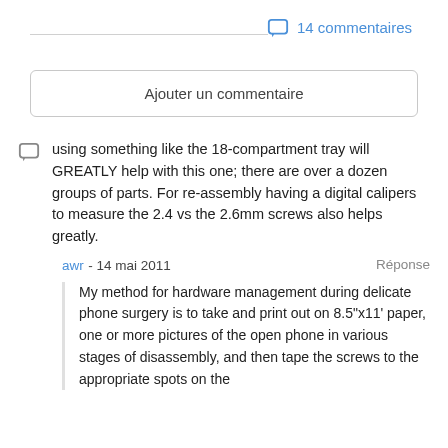14 commentaires
Ajouter un commentaire
using something like the 18-compartment tray will GREATLY help with this one; there are over a dozen groups of parts. For re-assembly having a digital calipers to measure the 2.4 vs the 2.6mm screws also helps greatly.
awr - 14 mai 2011    Réponse
My method for hardware management during delicate phone surgery is to take and print out on 8.5"x11' paper, one or more pictures of the open phone in various stages of disassembly, and then tape the screws to the appropriate spots on the